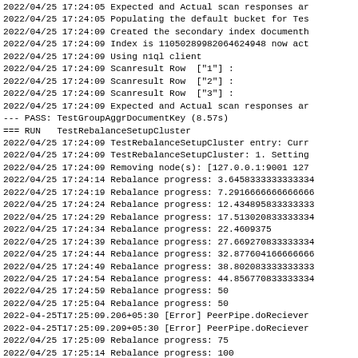2022/04/25 17:24:05 Expected and Actual scan responses ar
2022/04/25 17:24:05 Populating the default bucket for Tes
2022/04/25 17:24:09 Created the secondary index documenth
2022/04/25 17:24:09 Index is 11050289982064624948 now act
2022/04/25 17:24:09 Using n1ql client
2022/04/25 17:24:09 Scanresult Row  ["1"] :
2022/04/25 17:24:09 Scanresult Row  ["2"] :
2022/04/25 17:24:09 Scanresult Row  ["3"] :
2022/04/25 17:24:09 Expected and Actual scan responses ar
--- PASS: TestGroupAggrDocumentKey (8.57s)
=== RUN   TestRebalanceSetupCluster
2022/04/25 17:24:09 TestRebalanceSetupCluster entry: Curr
2022/04/25 17:24:09 TestRebalanceSetupCluster: 1. Setting
2022/04/25 17:24:09 Removing node(s): [127.0.0.1:9001 127
2022/04/25 17:24:14 Rebalance progress: 3.64583333333334
2022/04/25 17:24:19 Rebalance progress: 7.29166666666666
2022/04/25 17:24:24 Rebalance progress: 12.4348958333333
2022/04/25 17:24:29 Rebalance progress: 17.5130208333334
2022/04/25 17:24:34 Rebalance progress: 22.4609375
2022/04/25 17:24:39 Rebalance progress: 27.6692708333334
2022/04/25 17:24:44 Rebalance progress: 32.8776041666666
2022/04/25 17:24:49 Rebalance progress: 38.8020833333333
2022/04/25 17:24:54 Rebalance progress: 44.8567708333334
2022/04/25 17:24:59 Rebalance progress: 50
2022/04/25 17:25:04 Rebalance progress: 50
2022-04-25T17:25:09.206+05:30 [Error] PeerPipe.doReciever
2022-04-25T17:25:09.209+05:30 [Error] PeerPipe.doReciever
2022/04/25 17:25:09 Rebalance progress: 75
2022/04/25 17:25:14 Rebalance progress: 100
2022/04/25 17:25:14 Adding node: https://127.0.0.1:19001